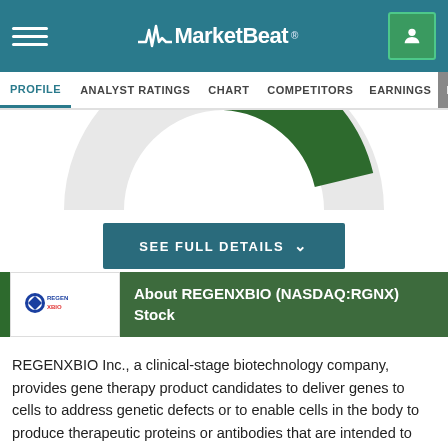MarketBeat
PROFILE  ANALYST RATINGS  CHART  COMPETITORS  EARNINGS  FINANCIALS
[Figure (other): Partial donut/pie chart visible at top, cut off]
SEE FULL DETAILS
About REGENXBIO (NASDAQ:RGNX) Stock
REGENXBIO Inc., a clinical-stage biotechnology company, provides gene therapy product candidates to deliver genes to cells to address genetic defects or to enable cells in the body to produce therapeutic proteins or antibodies that are intended to impact disease. Its gene therapy product